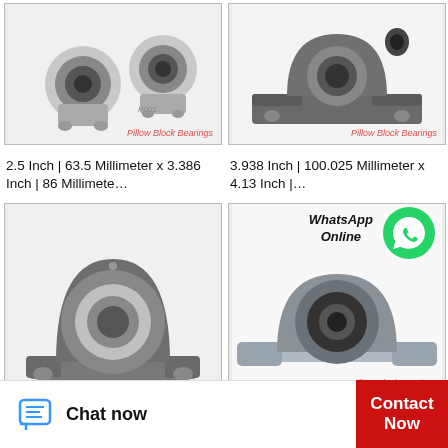[Figure (photo): Pillow block bearing, silver/chrome finish, two pieces shown, labeled P001]
[Figure (photo): Pillow block bearing, dark grey cast iron, two-bolt mount]
2.5 Inch | 63.5 Millimeter x 3.386 Inch | 86 Millimete…
3.938 Inch | 100.025 Millimeter x 4.13 Inch |…
[Figure (photo): Large grey pillow block bearing with two-bolt base, viewed from front-left angle]
[Figure (photo): Small chrome/metallic pillow block bearing on white background, with WhatsApp Online overlay]
WhatsApp Online
Chat now
Contact Now